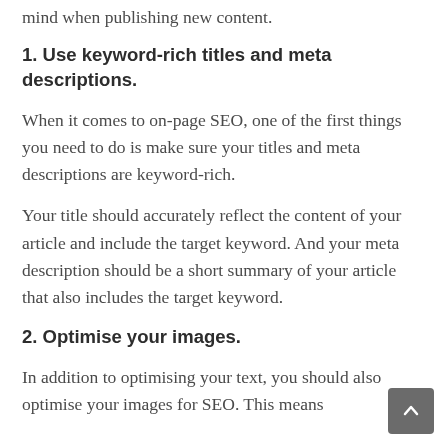mind when publishing new content.
1. Use keyword-rich titles and meta descriptions.
When it comes to on-page SEO, one of the first things you need to do is make sure your titles and meta descriptions are keyword-rich.
Your title should accurately reflect the content of your article and include the target keyword. And your meta description should be a short summary of your article that also includes the target keyword.
2. Optimise your images.
In addition to optimising your text, you should also optimise your images for SEO. This means